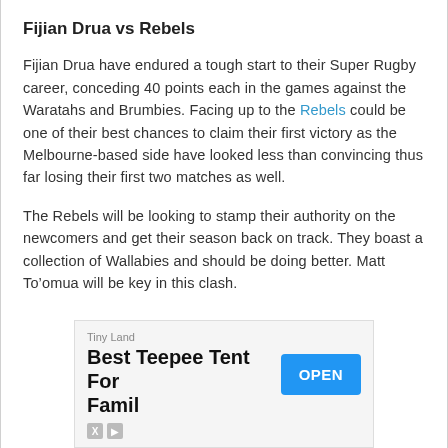Fijian Drua vs Rebels
Fijian Drua have endured a tough start to their Super Rugby career, conceding 40 points each in the games against the Waratahs and Brumbies. Facing up to the Rebels could be one of their best chances to claim their first victory as the Melbourne-based side have looked less than convincing thus far losing their first two matches as well.
The Rebels will be looking to stamp their authority on the newcomers and get their season back on track. They boast a collection of Wallabies and should be doing better. Matt To’omua will be key in this clash.
[Figure (other): Advertisement banner: Tiny Land — Best Teepee Tent For Famil, with an OPEN button and ad attribution icons (X and play button).]